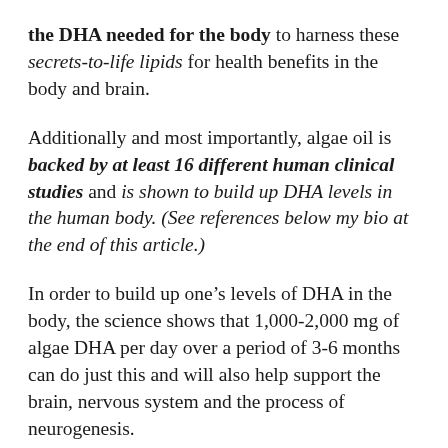the DHA needed for the body to harness these secrets-to-life lipids for health benefits in the body and brain.
Additionally and most importantly, algae oil is backed by at least 16 different human clinical studies and is shown to build up DHA levels in the human body. (See references below my bio at the end of this article.)
In order to build up one's levels of DHA in the body, the science shows that 1,000-2,000 mg of algae DHA per day over a period of 3-6 months can do just this and will also help support the brain, nervous system and the process of neurogenesis.